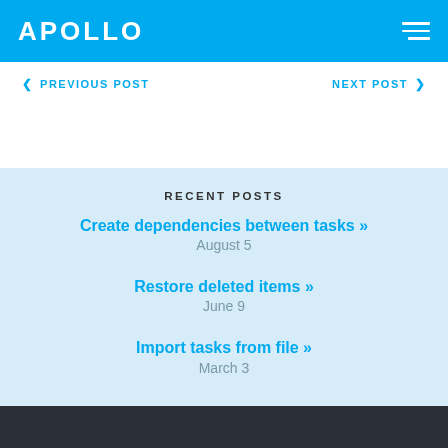APOLLO
< PREVIOUS POST    NEXT POST >
RECENT POSTS
Create dependencies between tasks »
August 5
Restore deleted items »
June 9
Import tasks from file »
March 3
More posts...